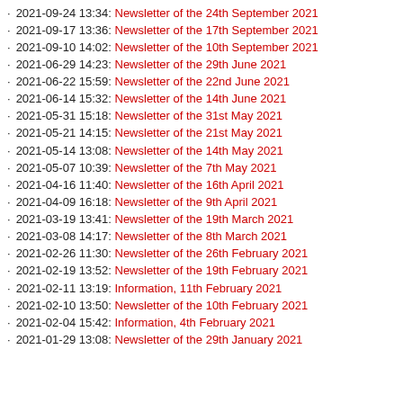2021-09-24 13:34: Newsletter of the 24th September 2021
2021-09-17 13:36: Newsletter of the 17th September 2021
2021-09-10 14:02: Newsletter of the 10th September 2021
2021-06-29 14:23: Newsletter of the 29th June 2021
2021-06-22 15:59: Newsletter of the 22nd June 2021
2021-06-14 15:32: Newsletter of the 14th June 2021
2021-05-31 15:18: Newsletter of the 31st May 2021
2021-05-21 14:15: Newsletter of the 21st May 2021
2021-05-14 13:08: Newsletter of the 14th May 2021
2021-05-07 10:39: Newsletter of the 7th May 2021
2021-04-16 11:40: Newsletter of the 16th April 2021
2021-04-09 16:18: Newsletter of the 9th April 2021
2021-03-19 13:41: Newsletter of the 19th March 2021
2021-03-08 14:17: Newsletter of the 8th March 2021
2021-02-26 11:30: Newsletter of the 26th February 2021
2021-02-19 13:52: Newsletter of the 19th February 2021
2021-02-11 13:19: Information, 11th February 2021
2021-02-10 13:50: Newsletter of the 10th February 2021
2021-02-04 15:42: Information, 4th February 2021
2021-01-29 13:08: Newsletter of the 29th January 2021